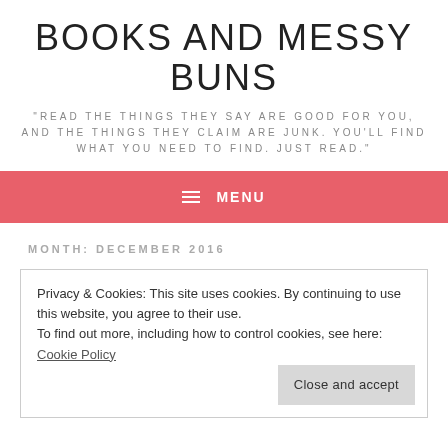BOOKS AND MESSY BUNS
"READ THE THINGS THEY SAY ARE GOOD FOR YOU, AND THE THINGS THEY CLAIM ARE JUNK. YOU'LL FIND WHAT YOU NEED TO FIND. JUST READ."
≡ MENU
MONTH: DECEMBER 2016
Privacy & Cookies: This site uses cookies. By continuing to use this website, you agree to their use.
To find out more, including how to control cookies, see here: Cookie Policy
Close and accept